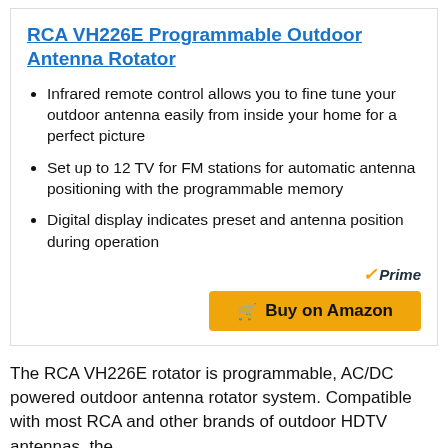RCA VH226E Programmable Outdoor Antenna Rotator
Infrared remote control allows you to fine tune your outdoor antenna easily from inside your home for a perfect picture
Set up to 12 TV for FM stations for automatic antenna positioning with the programmable memory
Digital display indicates preset and antenna position during operation
The RCA VH226E rotator is programmable, AC/DC powered outdoor antenna rotator system. Compatible with most RCA and other brands of outdoor HDTV antennas, the